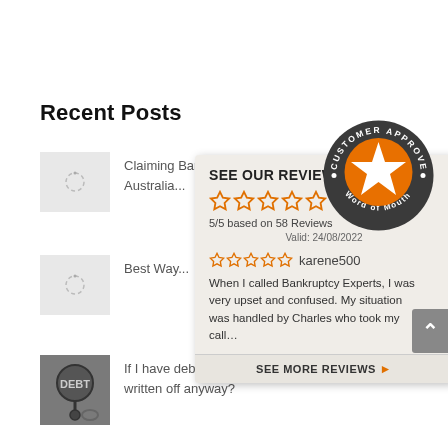Recent Posts
Claiming Bankruptcy Pros and Cons Australia...
Best Way...
If I have debts that are old, don't they get written off anyway?
[Figure (infographic): Customer Approved Word of Mouth badge with orange star]
SEE OUR REVIEWS
5/5 based on 58 Reviews
Valid: 24/08/2022
karene500
When I called Bankruptcy Experts, I was very upset and confused. My situation was handled by Charles who took my call...
SEE MORE REVIEWS